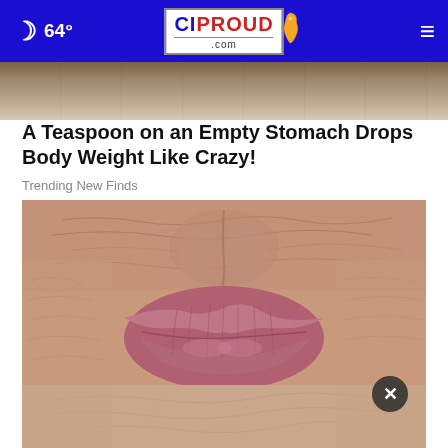🌙 64° | CIPROUD.com | ☰
[Figure (photo): Partial top image strip showing a wooden surface or close-up background]
A Teaspoon on an Empty Stomach Drops Body Weight Like Crazy!
Trending New Finds
[Figure (photo): Close-up photograph of elderly person's wrinkled lips and surrounding facial skin, with a dark circular close (x) button overlay in the lower right]